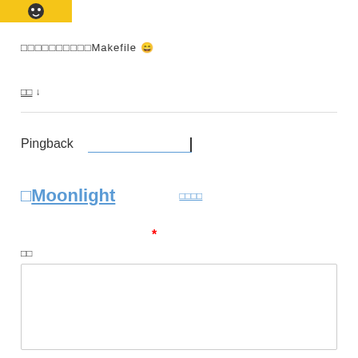[Figure (logo): Yellow and black logo/icon in top left corner]
□□□□□□□□□□Makefile 😄
□□ ↓
Pingback  __________________|_____
□Moonlight   □□□□
*
□□